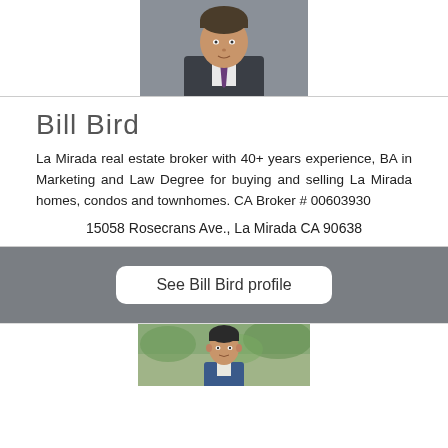[Figure (photo): Headshot of a man in a dark suit and purple tie]
Bill Bird
La Mirada real estate broker with 40+ years experience, BA in Marketing and Law Degree for buying and selling La Mirada homes, condos and townhomes. CA Broker # 00603930
15058 Rosecrans Ave., La Mirada CA 90638
See Bill Bird profile
[Figure (photo): Headshot of a younger man outdoors]